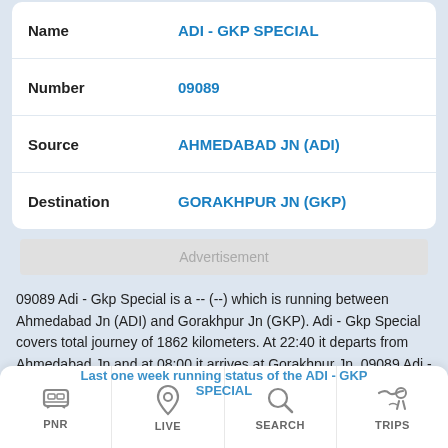| Field | Value |
| --- | --- |
| Name | ADI - GKP SPECIAL |
| Number | 09089 |
| Source | AHMEDABAD JN (ADI) |
| Destination | GORAKHPUR JN (GKP) |
Advertisement
09089 Adi - Gkp Special is a -- (--) which is running between Ahmedabad Jn (ADI) and Gorakhpur Jn (GKP). Adi - Gkp Special covers total journey of 1862 kilometers. At 22:40 it departs from Ahmedabad Jn and at 08:00 it arrives at Gorakhpur Jn. 09089 Adi - Gkp Special has total 12 stopping station like BHUSAVAL JN (BSL), JABALPUR (JBP), (PCOI) etc. between both source and destination stations. Check here 09089 Running status
Last one week running status of the ADI - GKP SPECIAL
PNR
LIVE
SEARCH
TRIPS